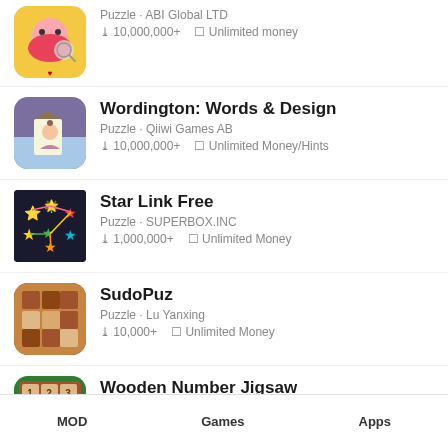Puzzle · ABI Global LTD · 10,000,000+ · Unlimited money
Wordington: Words & Design · Puzzle · Qiiwi Games AB · 10,000,000+ · Unlimited Money/Hints
Star Link Free · Puzzle · SUPERBOX.INC · 1,000,000+ · Unlimited Money
SudoPuz · Puzzle · Lu Yanxing · 10,000+ · Unlimited Money
Wooden Number Jigsaw · Puzzle · Botanica Game
MOD   Games   Apps